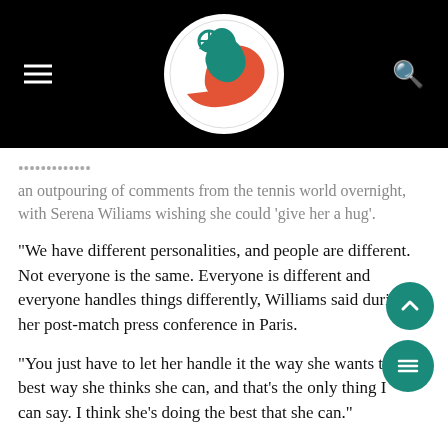[Figure (logo): Tennis website logo: circular white oval with teal and orange tennis player/bird design, set on black header bar with hamburger menu icon on left and search icon on right]
an outpouring of comments from the tennis world overnight, with Serena Wiliams wishing she could 'give her a hug'.
“We have different personalities, and people are different. Not everyone is the same. Everyone is different and everyone handles things differently, Williams said during her post-match press conference in Paris.
“You just have to let her handle it the way she wants to, the best way she thinks she can, and that’s the only thing I can say. I think she’s doing the best that she can.”